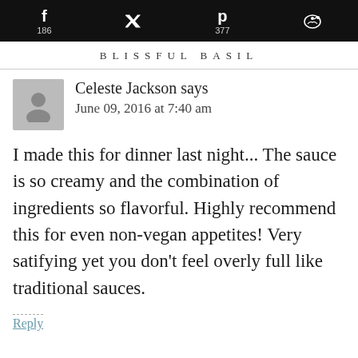f 186  [twitter icon]  p 377  [reddit icon]
BLISSFUL BASIL
Celeste Jackson says
June 09, 2016 at 7:40 am
I made this for dinner last night... The sauce is so creamy and the combination of ingredients so flavorful. Highly recommend this for even non-vegan appetites! Very satifying yet you don't feel overly full like traditional sauces.
Reply